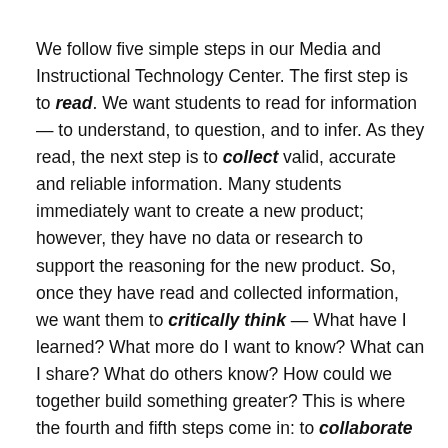We follow five simple steps in our Media and Instructional Technology Center.  The first step is to read. We want students to read for information — to understand, to question, and to infer.  As they read, the next step is to collect valid, accurate and reliable information.  Many students immediately want to create a new product; however, they have no data or research to support the reasoning for the new product.  So, once they have read and collected information, we want them to critically think — What have I learned?  What more do I want to know?  What can I share? What do others know? How could we together build something greater? This is where the fourth and fifth steps come in:  to collaborate and to create.
When we can help students understand this process and follow it then we believe we have pushed them out of their